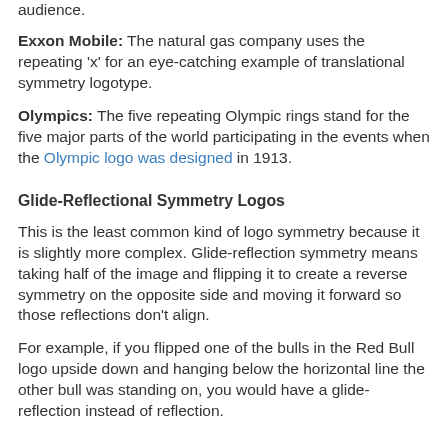audience.
Exxon Mobile: The natural gas company uses the repeating 'x' for an eye-catching example of translational symmetry logotype.
Olympics: The five repeating Olympic rings stand for the five major parts of the world participating in the events when the Olympic logo was designed in 1913.
Glide-Reflectional Symmetry Logos
This is the least common kind of logo symmetry because it is slightly more complex. Glide-reflection symmetry means taking half of the image and flipping it to create a reverse symmetry on the opposite side and moving it forward so those reflections don't align.
For example, if you flipped one of the bulls in the Red Bull logo upside down and hanging below the horizontal line the other bull was standing on, you would have a glide-reflection instead of reflection.